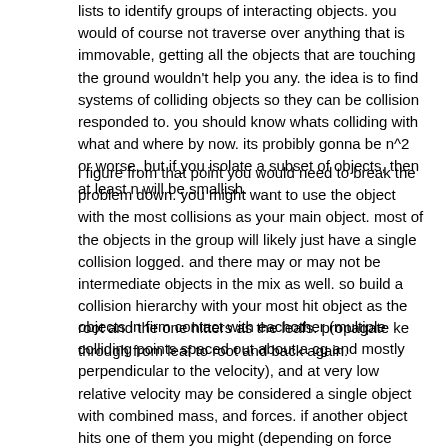lists to identify groups of interacting objects. you would of course not traverse over anything that is immovable, getting all the objects that are touching the ground wouldn't help you any. the idea is to find systems of colliding objects so they can be collision responded to. you should know whats colliding with what and where by now. its probibly gonna be n^2 or worse, but if you isolate a subset of objects, then at least n will be smallish.
i figure from that point you would need to break the problem down. you might want to use the object with the most collisions as your main object. most of the objects in the group will likely just have a single collision logged. and there may or may not be intermediate objects in the mix as well. so build a collision hierarchy with your most hit object as the root and the one hitters as the leafs. propagate ke through from leaf to root and back again.
objects in firm contact with eachother (multiple colliding points spaced out about a cg and mostly perpendicular to the velocity), and at very low relative velocity may be considered a single object with combined mass, and forces. if another object hits one of them you might (depending on force vector in relation to the objects' cgs) get some energy transfer through this kind of thing. object a hits object b which is in (firm) contact with object c. so the force applied to b will actually get distributed to both b and c objects by some ratio (massA:massB). if a is bouncy, you may also dump some of the ke back into object a.
you also might step ahead in simulation time by one unit (or